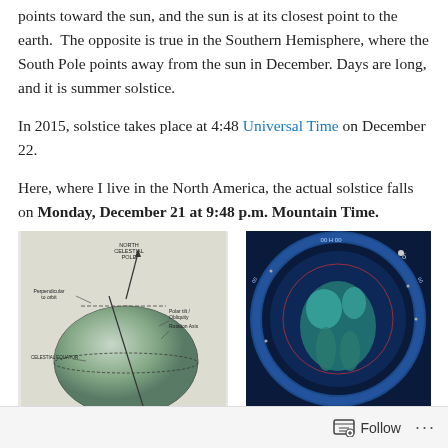points toward the sun, and the sun is at its closest point to the earth.  The opposite is true in the Southern Hemisphere, where the South Pole points away from the sun in December. Days are long, and it is summer solstice.
In 2015, solstice takes place at 4:48 Universal Time on December 22.
Here, where I live in the North America, the actual solstice falls on Monday, December 21 at 9:48 p.m. Mountain Time.
[Figure (illustration): Diagram of Earth showing North Celestial Pole, Perpendicular to orbit, Polar Tilt/Obliquity, Rotation Axis, and Celestial Equator labels with arrows on a globe illustration]
[Figure (illustration): Circular star chart / celestial map with blue and teal coloring showing constellations and degree markings around the rim]
Follow ···